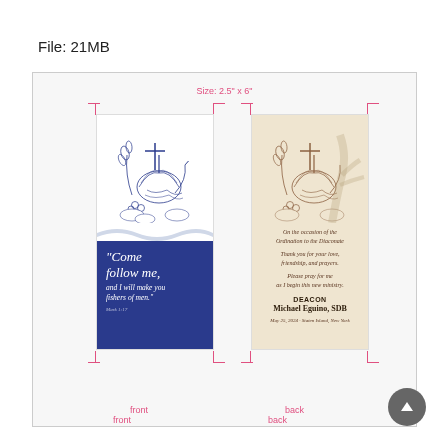File: 21MB
[Figure (illustration): Two bookmark-sized cards shown front and back. Front card has a blue bottom half with the quote 'Come follow me, and I will make you fishers of men.' on a navy blue background with religious illustration on white top. Back card has a beige/cream background with a similar religious illustration on top and text for Deacon Michael Eguino, SDB ordination.]
front
back